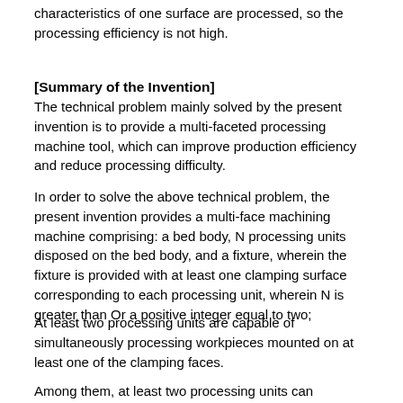characteristics of one surface are processed, so the processing efficiency is not high.
[Summary of the Invention]
The technical problem mainly solved by the present invention is to provide a multi-faceted processing machine tool, which can improve production efficiency and reduce processing difficulty.
In order to solve the above technical problem, the present invention provides a multi-face machining machine comprising: a bed body, N processing units disposed on the bed body, and a fixture, wherein the fixture is provided with at least one clamping surface corresponding to each processing unit, wherein N is greater than Or a positive integer equal to two;
At least two processing units are capable of simultaneously processing workpieces mounted on at least one of the clamping faces.
Among them, at least two processing units can simultaneously process workpieces mounted on one of